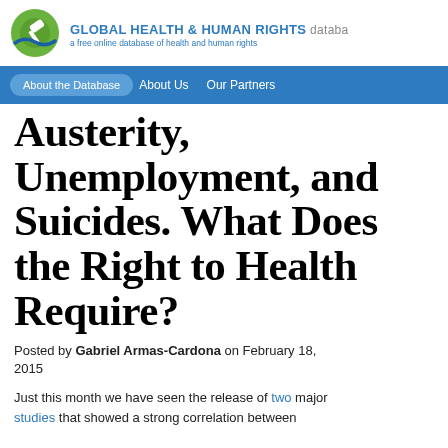GLOBAL HEALTH & HUMAN RIGHTS database — a free online database of health and human rights
About the Database   About Us   Our Partners
Austerity, Unemployment, and Suicides. What Does the Right to Health Require?
Posted by Gabriel Armas-Cardona on February 18, 2015
Just this month we have seen the release of two major studies that showed a strong correlation between